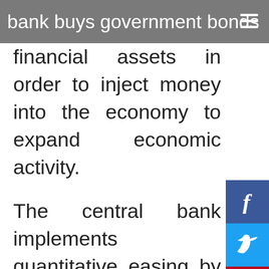bank buys government bonds or oth...
financial assets in order to inject money into the economy to expand economic activity.
The central bank implements quantitative easing by buying financial assets from commercial banks and other financial institutions, thereby raising the prices of those financial assets, lowering yield, increasing money supply and liquidity within the economy.